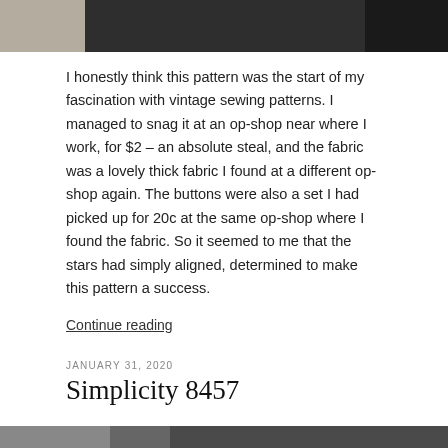[Figure (photo): Top portion of a photograph showing a dark garment or clothing item, partially cropped at the top of the page]
I honestly think this pattern was the start of my fascination with vintage sewing patterns. I managed to snag it at an op-shop near where I work, for $2 – an absolute steal, and the fabric was a lovely thick fabric I found at a different op-shop again. The buttons were also a set I had picked up for 20c at the same op-shop where I found the fabric. So it seemed to me that the stars had simply aligned, determined to make this pattern a success.
Continue reading
JANUARY 31, 2020
Simplicity 8457
[Figure (photo): Bottom portion of a photograph, cropped at the bottom edge of the page]